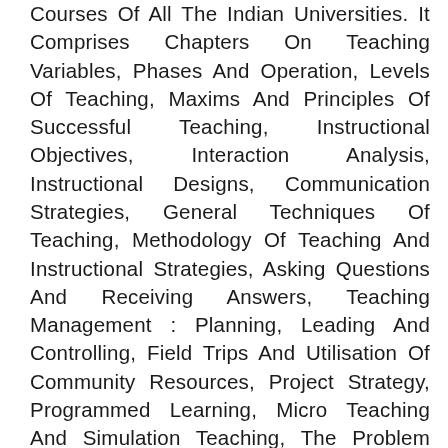Courses Of All The Indian Universities. It Comprises Chapters On Teaching Variables, Phases And Operation, Levels Of Teaching, Maxims And Principles Of Successful Teaching, Instructional Objectives, Interaction Analysis, Instructional Designs, Communication Strategies, General Techniques Of Teaching, Methodology Of Teaching And Instructional Strategies, Asking Questions And Receiving Answers, Teaching Management : Planning, Leading And Controlling, Field Trips And Utilisation Of Community Resources, Project Strategy, Programmed Learning, Micro Teaching And Simulation Teaching, The Problem Solving Method, Teaching Machines And Computer, Techniques For Higher Learning, Team Teaching, Audio-Visual Aids In Education, Teaching By Modelling, Mass-Media And Multi-Media In Education, The School Museum And Exhibition, Laboratory, Institutional Planning, Lesson Planning And Open Or Distance Education Technology.Written In Lucid And Simple Language With Matter Drawn From Authentic